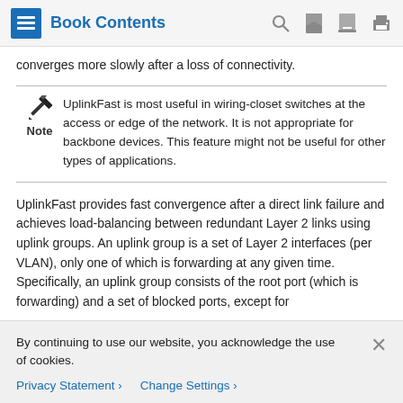Book Contents
converges more slowly after a loss of connectivity.
UplinkFast is most useful in wiring-closet switches at the access or edge of the network. It is not appropriate for backbone devices. This feature might not be useful for other types of applications.
UplinkFast provides fast convergence after a direct link failure and achieves load-balancing between redundant Layer 2 links using uplink groups. An uplink group is a set of Layer 2 interfaces (per VLAN), only one of which is forwarding at any given time. Specifically, an uplink group consists of the root port (which is forwarding) and a set of blocked ports, except for
By continuing to use our website, you acknowledge the use of cookies.
Privacy Statement > Change Settings >